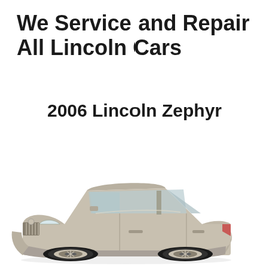We Service and Repair All Lincoln Cars
2006 Lincoln Zephyr
[Figure (photo): 2006 Lincoln Zephyr sedan, silver/champagne color, shown from a front three-quarter angle on a white background]